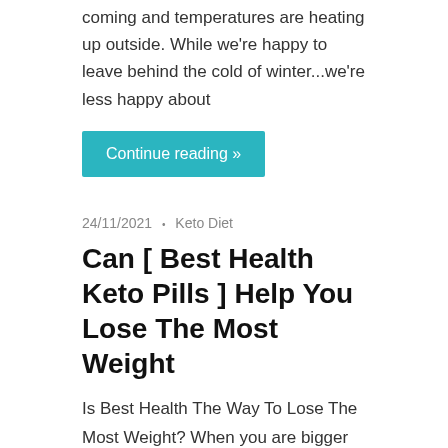coming and temperatures are heating up outside. While we're happy to leave behind the cold of winter...we're less happy about
Continue reading »
24/11/2021 • Keto Diet
Can [ Best Health Keto Pills ] Help You Lose The Most Weight
Is Best Health The Way To Lose The Most Weight? When you are bigger than usual, all you can notice is your extra weight. Your confidence crumbles and you